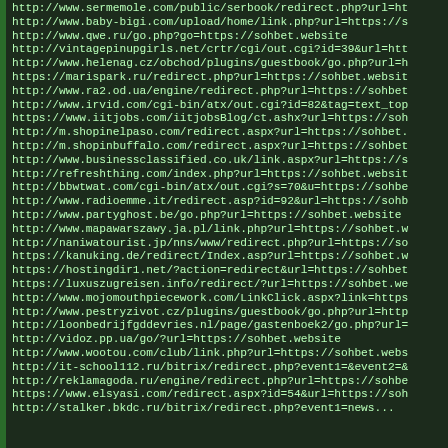http://www.sermemole.com/public/serbook/redirect.php?url=ht
http://www.baby-bigi.com/upload/home/link.php?url=https://s
http://www.qwe.ru/go.php?go=https://sohbet.website
http://vintagepinupgirls.net/crtr/cgi/out.cgi?id=39&url=htt
http://www.helenag.cz/obchod/plugins/guestbook/go.php?url=h
https://marispark.ru/redirect.php?url=https://sohbet.websit
http://www.ra2.od.ua/engine/redirect.php?url=https://sohbet
http://www.irvid.com/cgi-bin/atx/out.cgi?id=82&tag=text_top
https://www.iitjobs.com/iitjobsBlog/ct.ashx?url=https://soh
http://m.shopinelpaso.com/redirect.aspx?url=https://sohbet.
http://m.shopinbuffalo.com/redirect.aspx?url=https://sohbet
http://www.businessclassified.co.uk/link.aspx?url=https://s
http://refreshthing.com/index.php?url=https://sohbet.websit
http://bbwtwat.com/cgi-bin/atx/out.cgi?s=70&u=https://sohbe
http://www.radioemme.it/redirect.asp?id=92&url=https://sohb
http://www.partyghost.be/go.php?url=https://sohbet.website
http://www.mapawarszawy.ja.pl/link.php?url=https://sohbet.w
http://naniwatourist.jp/nns/www/redirect.php?url=https://so
https://kanuking.de/redirect/Index.asp?url=https://sohbet.w
https://hostingdir1.net/?action=redirect&url=https://sohbet
https://luxuszugreisen.info/redirect/?url=https://sohbet.we
http://www.mojomouthpiecework.com/LinkClick.aspx?link=https
http://www.pestryzivot.cz/plugins/guestbook/go.php?url=http
http://loonbedrijfgddevries.nl/page/gastenboek2/go.php?url=
http://vidoz.pp.ua/go/?url=https://sohbet.website
http://www.wootou.com/club/link.php?url=https://sohbet.webs
http://it-school112.ru/bitrix/redirect.php?event1=&event2=&
http://reklamagoda.ru/engine/redirect.php?url=https://sohbe
https://www.elsyasi.com/redirect.aspx?id=54&url=https://soh
http://stalker.bkdc.ru/bitrix/redirect.php?event1=news...